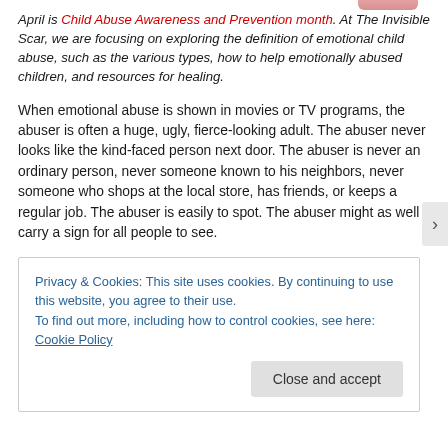April is Child Abuse Awareness and Prevention month. At The Invisible Scar, we are focusing on exploring the definition of emotional child abuse, such as the various types, how to help emotionally abused children, and resources for healing.
When emotional abuse is shown in movies or TV programs, the abuser is often a huge, ugly, fierce-looking adult. The abuser never looks like the kind-faced person next door. The abuser is never an ordinary person, never someone known to his neighbors, never someone who shops at the local store, has friends, or keeps a regular job. The abuser is easily to spot. The abuser might as well carry a sign for all people to see.
Privacy & Cookies: This site uses cookies. By continuing to use this website, you agree to their use.
To find out more, including how to control cookies, see here: Cookie Policy
Close and accept